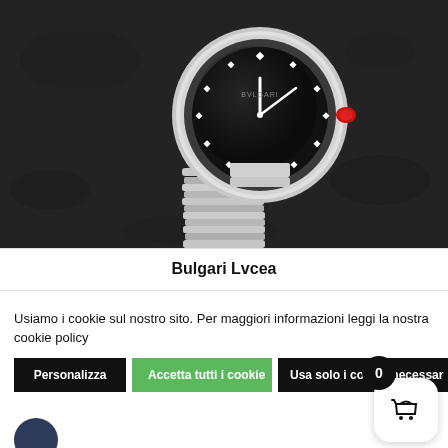[Figure (photo): Bulgari Lvcea watch with black dial featuring diamond hour markers, silver coiled bracelet/band, and red crown accent, photographed from above on dark textured stone background]
Bulgari Lvcea
Usiamo i cookie sul nostro sito. Per maggiori informazioni leggi la nostra cookie policy
Personalizza | Accetta tutti i cookie | Usa solo i cookie necessari